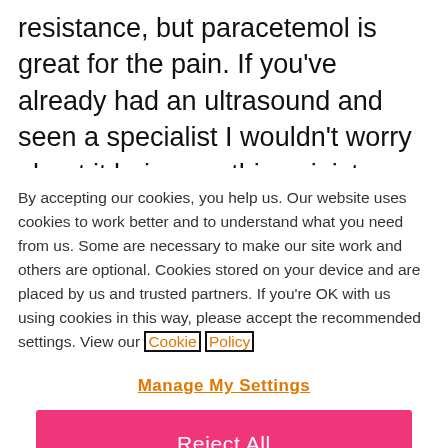resistance, but paracetemol is great for the pain. If you've already had an ultrasound and seen a specialist I wouldn't worry about it being anything sinister. Doctor Google is a scary thing; if
By accepting our cookies, you help us. Our website uses cookies to work better and to understand what you need from us. Some are necessary to make our site work and others are optional. Cookies stored on your device and are placed by us and trusted partners. If you're OK with us using cookies in this way, please accept the recommended settings. View our Cookie Policy
Manage My Settings
Reject All
Accept All Cookies